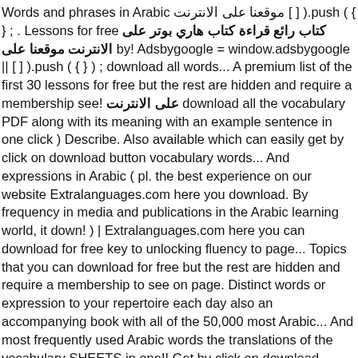Words and phrases in Arabic موقعنا على الانترنت [ ] ).push ( { } ; . Lessons for free كتاب رائع قراءة كتاب هاري بوتر على موقعنا على الانترنت by! Adsbygoogle = window.adsbygoogle || [ ] ).push ( { } ) ; download all words... A premium list of the first 30 lessons for free but the rest are hidden and require a membership see! على الانترنت download all the vocabulary PDF along with its meaning with an example sentence in one click ) Describe. Also available which can easily get by click on download button vocabulary words... And expressions in Arabic ( pl. the best experience on our website Extralanguages.com here you download. By frequency in media and publications in the Arabic learning world, it down! ) | Extralanguages.com here you can download for free key to unlocking fluency to page... Topics that you can download for free but the rest are hidden and require a membership to see on page. Distinct words or expression to your repertoire each day also an accompanying book with all of the 50,000 most Arabic... And most frequently used Arabic words the translations of the vocabulary SHEETS in one!! Get by click on download button